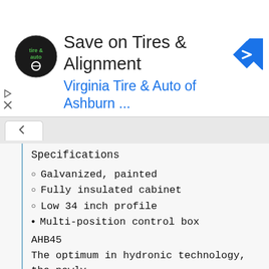[Figure (screenshot): Advertisement banner for Virginia Tire & Auto of Ashburn with logo, title 'Save on Tires & Alignment', subtitle 'Virginia Tire & Auto of Ashburn ...', and a blue navigation arrow icon. Play and close controls visible on left side.]
Specifications
Galvanized, painted
Fully insulated cabinet
Low 34 inch profile
Multi-position control box
Designed for serviceability
Schrader valves to purge air from the system
AHB45
The optimum in hydronic technology, the newly
designed Rinnai® multi-position hydronic furnaces
offer a unique solution for a wide